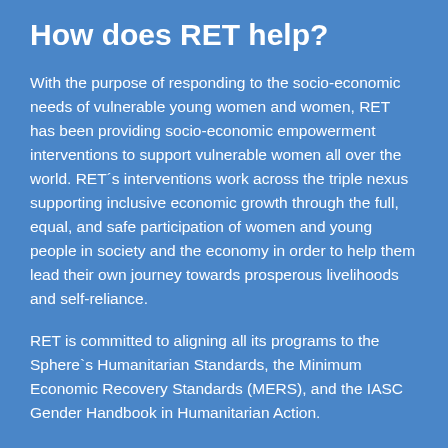How does RET help?
With the purpose of responding to the socio-economic needs of vulnerable young women and women, RET has been providing socio-economic empowerment interventions to support vulnerable women all over the world. RET´s interventions work across the triple nexus supporting inclusive economic growth through the full, equal, and safe participation of women and young people in society and the economy in order to help them lead their own journey towards prosperous livelihoods and self-reliance.
RET is committed to aligning all its programs to the Sphere`s Humanitarian Standards, the Minimum Economic Recovery Standards (MERS), and the IASC Gender Handbook in Humanitarian Action.